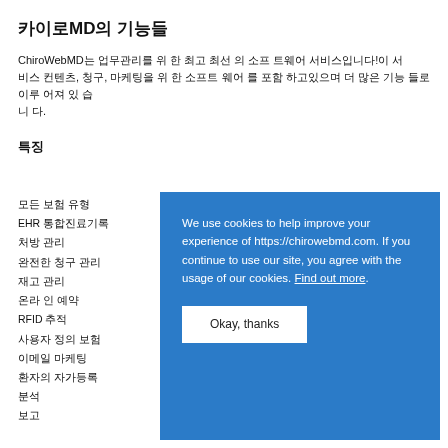카이로MD의 기능들
ChiroWebMD는 업무관리를 위 한 최고 최선 의 소프 트웨어 서비스입니다!이 서 비스 컨텐츠, 청구, 마케팅을 위 한 소프트 웨어 를 포함 하고있으며 더 많은 기능 들로 이루 어져 있 습 니다.
특징
모든 보험 유형
EHR 통합진료기록
처방 관리
완전한 청구 관리
재고 관리
온라 인 예약
RFID 추적
사용자 정의 보험
이메일 마케팅
환자의 자가등록
분석
보고
We use cookies to help improve your experience of https://chirowebmd.com. If you continue to use our site, you agree with the usage of our cookies. Find out more. Okay, thanks